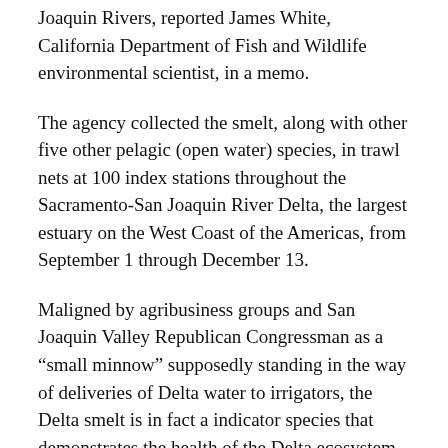Joaquin Rivers, reported James White, California Department of Fish and Wildlife environmental scientist, in a memo.
The agency collected the smelt, along with other five other pelagic (open water) species, in trawl nets at 100 index stations throughout the Sacramento-San Joaquin River Delta, the largest estuary on the West Coast of the Americas, from September 1 through December 13.
Maligned by agribusiness groups and San Joaquin Valley Republican Congressman as a “small minnow” supposedly standing in the way of deliveries of Delta water to irrigators, the Delta smelt is in fact a indicator species that demonstrates the health of the Delta ecosystem like the proverbial “canary in the coal mine.” More information: www.dailykos.com/…
A Notice of Intent to prepare an environmental impact